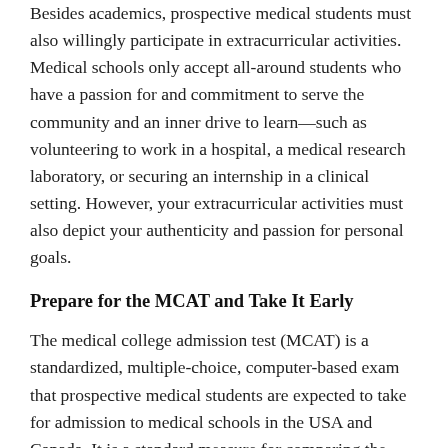Besides academics, prospective medical students must also willingly participate in extracurricular activities. Medical schools only accept all-around students who have a passion for and commitment to serve the community and an inner drive to learn—such as volunteering to work in a hospital, a medical research laboratory, or securing an internship in a clinical setting. However, your extracurricular activities must also depict your authenticity and passion for personal goals.
Prepare for the MCAT and Take It Early
The medical college admission test (MCAT) is a standardized, multiple-choice, computer-based exam that prospective medical students are expected to take for admission to medical schools in the USA and Canada. It is a standard measure for comparing the qualifications and preparedness of applicants.
The MCAT compares students on a standard scale regardless of social or academic background. MCAT test results speak a mouthful about an applicant's personality and are extensively